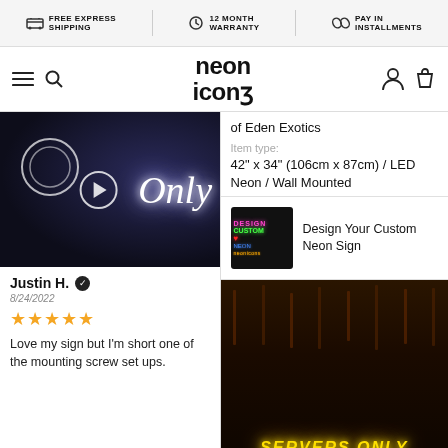FREE EXPRESS SHIPPING | 12 MONTH WARRANTY | PAY IN INSTALLMENTS
[Figure (logo): Neon Icons logo with hamburger menu and search icon on left, user account and shopping bag icons on right]
[Figure (photo): Neon sign showing 'Only' text in white LED neon with a video play button overlay, dark background]
Justin H. ✓
8/24/2022
★★★★★
Love my sign but I'm short one of the mounting screw set ups.
of Eden Exotics
Item type:
42" x 34" (106cm x 87cm) / LED Neon / Wall Mounted
[Figure (photo): Custom neon sign design thumbnail showing colorful neon text on dark background]
Design Your Custom Neon Sign
[Figure (photo): Dark restaurant/bar interior with chairs visible and yellow/gold neon sign reading 'SERVERS ONLY' at the bottom]